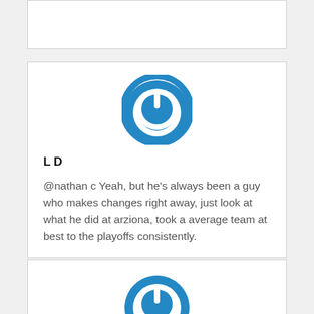[Figure (other): Power icon avatar (blue circle with power symbol) for user L D - partial card at top]
L D
@nathan c Yeah, but he’s always been a guy who makes changes right away, just look at what he did at arziona, took a average team at best to the playoffs consistently.
[Figure (other): Power icon avatar (blue circle with power symbol) for user nathan c]
nathan c